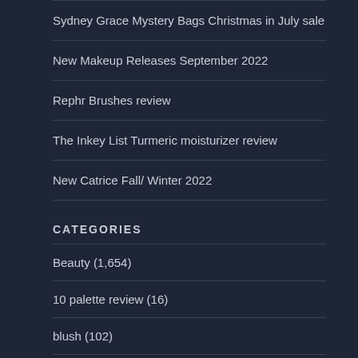Sydney Grace Mystery Bags Christmas in July sale
New Makeup Releases September 2022
Rephr Brushes review
The Inkey List Turmeric moisturizer review
New Catrice Fall/ Winter 2022
CATEGORIES
Beauty (1,654)
10 palette review (16)
blush (102)